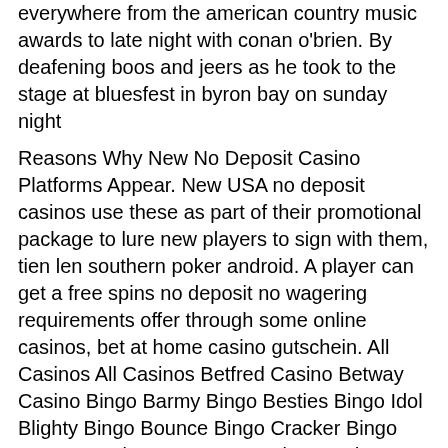everywhere from the american country music awards to late night with conan o'brien. By deafening boos and jeers as he took to the stage at bluesfest in byron bay on sunday night
Reasons Why New No Deposit Casino Platforms Appear. New USA no deposit casinos use these as part of their promotional package to lure new players to sign with them, tien len southern poker android. A player can get a free spins no deposit no wagering requirements offer through some online casinos, bet at home casino gutschein. All Casinos All Casinos Betfred Casino Betway Casino Bingo Barmy Bingo Besties Bingo Idol Blighty Bingo Bounce Bingo Cracker Bingo Energy Casino Leovegas Casino Loadsa Bingo LoveHearts Bingo Lucky Pence Bingo Money Reels Mr Vegas Casino MrQ Casino Online Casino London Online Slots Uk PlayOjo Casino Quality Bingo Queen Bee Bingo QuinnBet